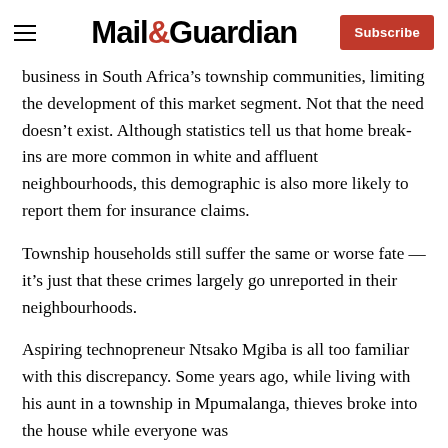Mail&Guardian | Subscribe
business in South Africa’s township communities, limiting the development of this market segment. Not that the need doesn’t exist. Although statistics tell us that home break-ins are more common in white and affluent neighbourhoods, this demographic is also more likely to report them for insurance claims.
Township households still suffer the same or worse fate — it’s just that these crimes largely go unreported in their neighbourhoods.
Aspiring technopreneur Ntsako Mgiba is all too familiar with this discrepancy. Some years ago, while living with his aunt in a township in Mpumalanga, thieves broke into the house while everyone was